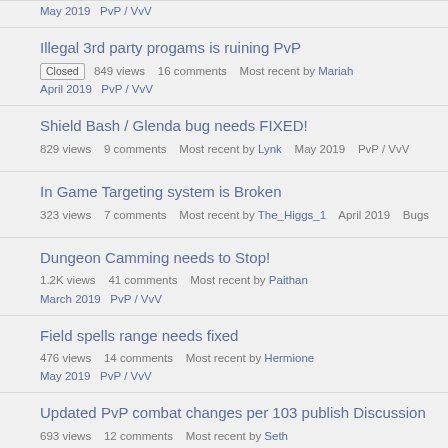Illegal 3rd party progams is ruining PvP | Closed | 849 views | 16 comments | Most recent by Mariah | April 2019 | PvP / VvV
Shield Bash / Glenda bug needs FIXED! | 829 views | 9 comments | Most recent by Lynk | May 2019 | PvP / VvV
In Game Targeting system is Broken | 323 views | 7 comments | Most recent by The_Higgs_1 | April 2019 | Bugs
Dungeon Camming needs to Stop! | 1.2K views | 41 comments | Most recent by Paithan | March 2019 | PvP / VvV
Field spells range needs fixed | 476 views | 14 comments | Most recent by Hermione | May 2019 | PvP / VvV
Updated PvP combat changes per 103 publish Discussion | 693 views | 12 comments | Most recent by Seth | December 2018 | PvP / VvV
Couple of bugs I think should be fixed